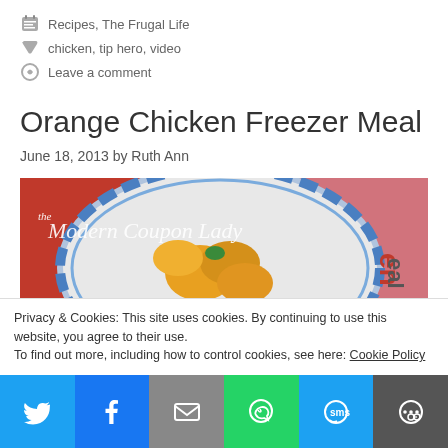Recipes, The Frugal Life
chicken, tip hero, video
Leave a comment
Orange Chicken Freezer Meal
June 18, 2013 by Ruth Ann
[Figure (photo): Photo of orange chicken dish in a blue-rimmed bowl with branding overlay 'the Modern Coupon Lady']
Privacy & Cookies: This site uses cookies. By continuing to use this website, you agree to their use.
To find out more, including how to control cookies, see here: Cookie Policy
Share buttons: Twitter, Facebook, Email, WhatsApp, SMS, More